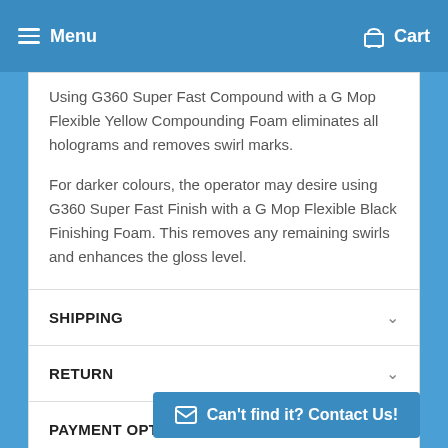Menu   Cart
Using G360 Super Fast Compound with a G Mop Flexible Yellow Compounding Foam eliminates all holograms and removes swirl marks.
For darker colours, the operator may desire using G360 Super Fast Finish with a G Mop Flexible Black Finishing Foam. This removes any remaining swirls and enhances the gloss level.
SHIPPING
RETURN
PAYMENT OPTIONS
Can't find it? Contact Us!